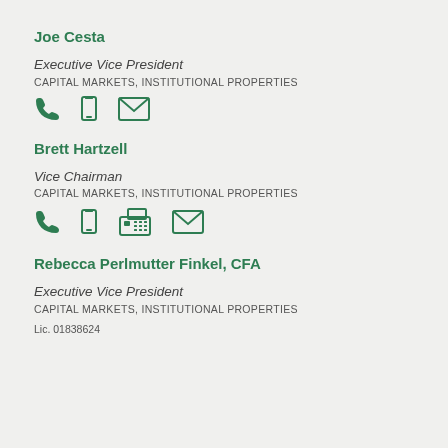Joe Cesta
Executive Vice President
CAPITAL MARKETS, INSTITUTIONAL PROPERTIES
[Figure (infographic): Contact icons: phone, mobile, email]
Brett Hartzell
Vice Chairman
CAPITAL MARKETS, INSTITUTIONAL PROPERTIES
[Figure (infographic): Contact icons: phone, mobile, fax, email]
Rebecca Perlmutter Finkel, CFA
Executive Vice President
CAPITAL MARKETS, INSTITUTIONAL PROPERTIES
Lic. 01838624